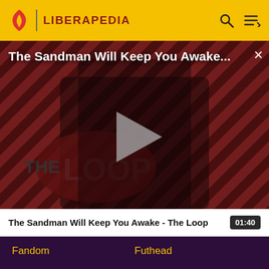LIBERAPEDIA
[Figure (screenshot): Video thumbnail showing The Sandman character in black cloak against a red diagonal striped background with THE LOOP text. A play button triangle is centered over the image. Title overlay reads 'The Sandman Will Keep You Awake...' with an X close button.]
The Sandman Will Keep You Awake - The Loop  01:40
Fandom
Futhead
Cortex RPG
Fanatical
Muthead